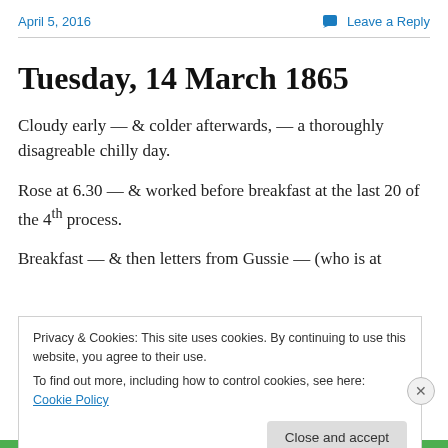April 5, 2016   Leave a Reply
Tuesday, 14 March 1865
Cloudy early — & colder afterwards, — a thoroughly disagreable chilly day.
Rose at 6.30 — & worked before breakfast at the last 20 of the 4th process.
Breakfast — & then letters from Gussie — (who is at
Privacy & Cookies: This site uses cookies. By continuing to use this website, you agree to their use.
To find out more, including how to control cookies, see here: Cookie Policy
Close and accept